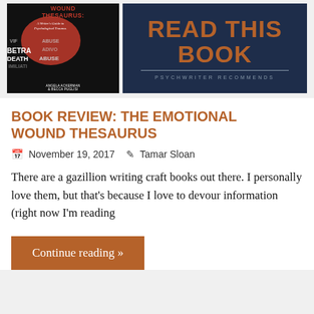[Figure (illustration): Top banner consisting of two parts: left side shows the book cover of 'The Emotional Wound Thesaurus: A Writer's Guide to Psychological Trauma' by Angela Ackerman & Becca Puglisi with a dark background, red blob, and word collage. Right side shows a dark navy blue rectangle with 'READ THIS BOOK' in large burnt-orange bold text and 'PSYCHWRITER RECOMMENDS' in small caps below.]
BOOK REVIEW: THE EMOTIONAL WOUND THESAURUS
November 19, 2017   Tamar Sloan
There are a gazillion writing craft books out there. I personally love them, but that's because I love to devour information (right now I'm reading
Continue reading »